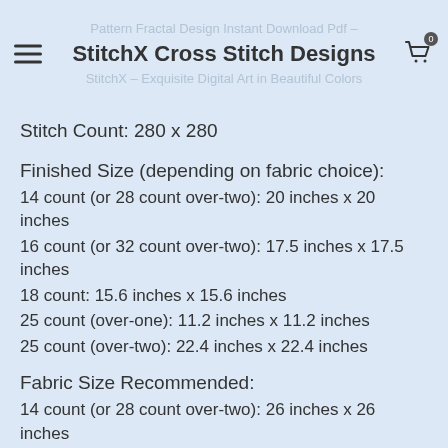Pattern Fractal Design Instant Download Pdf – StitchX Cross Stitch Designs StitchX – Exquisite Digital Art in Beautiful Colors
Stitch Count: 280 x 280
Finished Size (depending on fabric choice):
14 count (or 28 count over-two): 20 inches x 20 inches
16 count (or 32 count over-two): 17.5 inches x 17.5 inches
18 count: 15.6 inches x 15.6 inches
25 count (over-one): 11.2 inches x 11.2 inches
25 count (over-two): 22.4 inches x 22.4 inches
Fabric Size Recommended:
14 count (or 28 count over-two): 26 inches x 26 inches
16 count (or 32 count over-two): 34 inches x 34